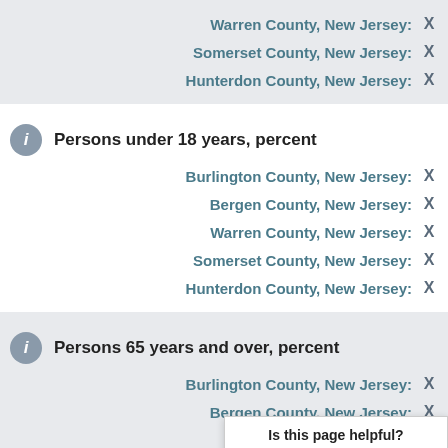Warren County, New Jersey: X
Somerset County, New Jersey: X
Hunterdon County, New Jersey: X
Persons under 18 years, percent
Burlington County, New Jersey: X
Bergen County, New Jersey: X
Warren County, New Jersey: X
Somerset County, New Jersey: X
Hunterdon County, New Jersey: X
Persons 65 years and over, percent
Burlington County, New Jersey: X
Bergen County, New Jersey: X
Warren County, New Jersey: X
Somerset County, New Jersey: X